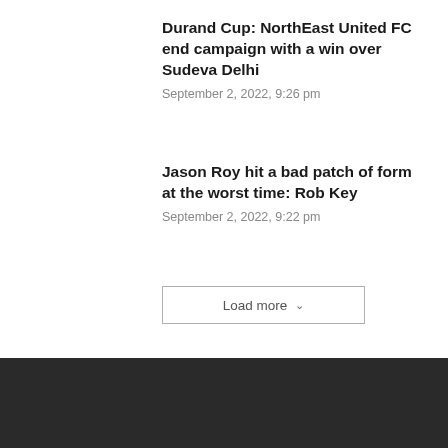Durand Cup: NorthEast United FC end campaign with a win over Sudeva Delhi
September 2, 2022, 9:26 pm
Jason Roy hit a bad patch of form at the worst time: Rob Key
September 2, 2022, 9:22 pm
Load more